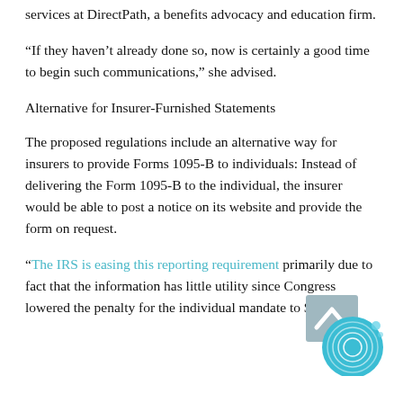services at DirectPath, a benefits advocacy and education firm.
“If they haven’t already done so, now is certainly a good time to begin such communications,” she advised.
Alternative for Insurer-Furnished Statements
The proposed regulations include an alternative way for insurers to provide Forms 1095-B to individuals: Instead of delivering the Form 1095-B to the individual, the insurer would be able to post a notice on its website and provide the form on request.
“The IRS is easing this reporting requirement primarily due to fact that the information has little utility since Congress lowered the penalty for the individual mandate to $0...
[Figure (logo): Circular logo with fingerprint/globe design in teal/blue with a rectangular grey background accent, positioned in the bottom right corner]